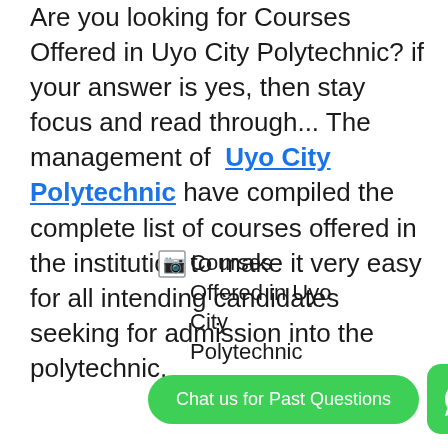Are you looking for Courses Offered in Uyo City Polytechnic? if your answer is yes, then stay focus and read through... The management of Uyo City Polytechnic have compiled the complete list of courses offered in the institution to make it very easy for all intending candidates seeking for admission into the polytechnic.
[Figure (illustration): Broken image placeholder with alt text 'Courses Offered in Uyo City Polytechnic']
Chat us for Past Questions